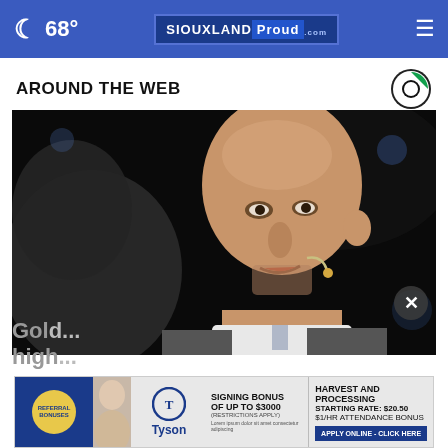68° SIOUXLAND Proud .com
AROUND THE WEB
[Figure (photo): Close-up photo of a bald middle-aged man speaking, with a microphone headset, against a dark background]
Gol... high...
[Figure (advertisement): Tyson Foods job advertisement banner. Referral Bonuses. Signing Bonus of up to $3000 (restrictions apply). Harvest and Processing Starting Rate: $20.50. $1/HR Attendance Bonus. Apply Online - Click Here.]